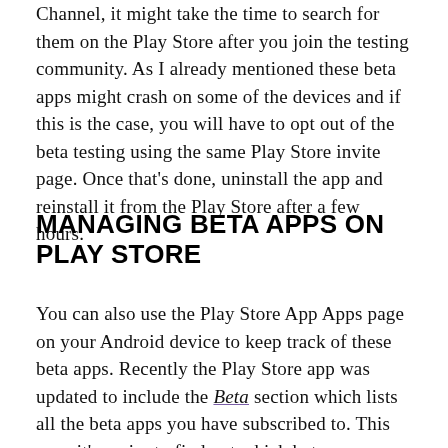Channel, it might take the time to search for them on the Play Store after you join the testing community. As I already mentioned these beta apps might crash on some of the devices and if this is the case, you will have to opt out of the beta testing using the same Play Store invite page. Once that's done, uninstall the app and reinstall it from the Play Store after a few hours.
MANAGING BETA APPS ON PLAY STORE
You can also use the Play Store App Apps page on your Android device to keep track of these beta apps. Recently the Play Store app was updated to include the Beta section which lists all the beta apps you have subscribed to. This way, it's easier to find out which beta apps you have signed up for.